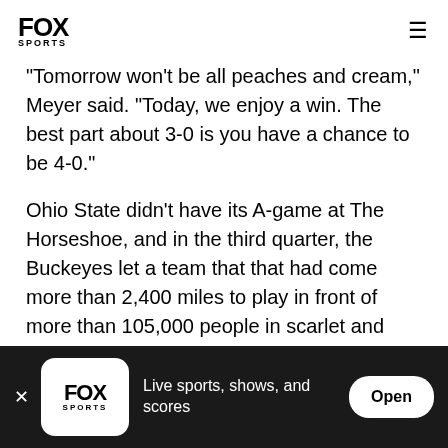FOX SPORTS
"Tomorrow won't be all peaches and cream," Meyer said. "Today, we enjoy a win. The best part about 3-0 is you have a chance to be 4-0."
Ohio State didn't have its A-game at The Horseshoe, and in the third quarter, the Buckeyes let a team that that had come more than 2,400 miles to play in front of more than 105,000 people in scarlet and gray take over the game.
With 8 minutes and 10 seconds left, Ohio State let
× FOX SPORTS Live sports, shows, and scores Open